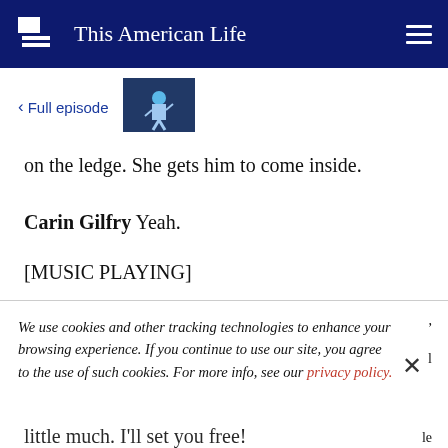This American Life
< Full episode
[Figure (photo): Thumbnail image of a performer on stage in a blue outfit]
on the ledge. She gets him to come inside.
Carin Gilfry Yeah.
[MUSIC PLAYING]
We use cookies and other tracking technologies to enhance your browsing experience. If you continue to use our site, you agree to the use of such cookies. For more info, see our privacy policy.
little much. I'll set you free!